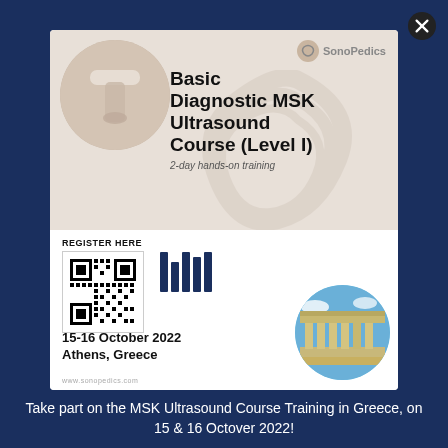[Figure (illustration): SonoPedics promotional flyer for Basic Diagnostic MSK Ultrasound Course (Level I), 2-day hands-on training, 15-16 October 2022, Athens, Greece. Features QR code for registration, ultrasound imagery, and photo of Parthenon.]
Take part on the MSK Ultrasound Course Training in Greece, on 15 & 16 Octover 2022!